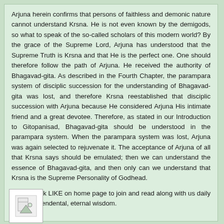Arjuna herein confirms that persons of faithless and demonic nature cannot understand Krsna. He is not even known by the demigods, so what to speak of the so-called scholars of this modern world? By the grace of the Supreme Lord, Arjuna has understood that the Supreme Truth is Krsna and that He is the perfect one. One should therefore follow the path of Arjuna. He received the authority of Bhagavad-gita. As described in the Fourth Chapter, the parampara system of disciplic succession for the understanding of Bhagavad-gita was lost, and therefore Krsna reestablished that disciplic succession with Arjuna because He considered Arjuna His intimate friend and a great devotee. Therefore, as stated in our Introduction to Gitopanisad, Bhagavad-gita should be understood in the parampara system. When the parampara system was lost, Arjuna was again selected to rejuvenate it. The acceptance of Arjuna of all that Krsna says should be emulated; then we can understand the essence of Bhagavad-gita, and then only can we understand that Krsna is the Supreme Personality of Godhead.
Please click LIKE on home page to join and read along with us daily this transcendental, eternal wisdom.
[Figure (illustration): Small image placeholder icon showing a document/image icon]